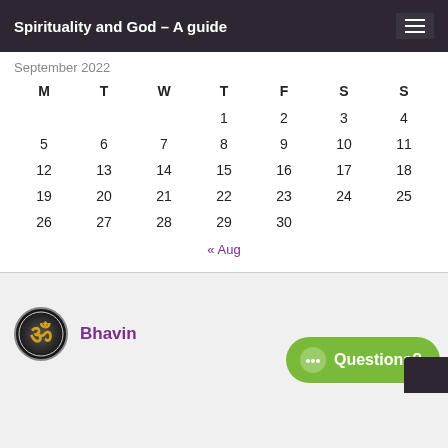Spirituality and God – A guide
September 2022
| M | T | W | T | F | S | S |
| --- | --- | --- | --- | --- | --- | --- |
|  |  |  | 1 | 2 | 3 | 4 |
| 5 | 6 | 7 | 8 | 9 | 10 | 11 |
| 12 | 13 | 14 | 15 | 16 | 17 | 18 |
| 19 | 20 | 21 | 22 | 23 | 24 | 25 |
| 26 | 27 | 28 | 29 | 30 |  |  |
« Aug
Bhavin
Questions?